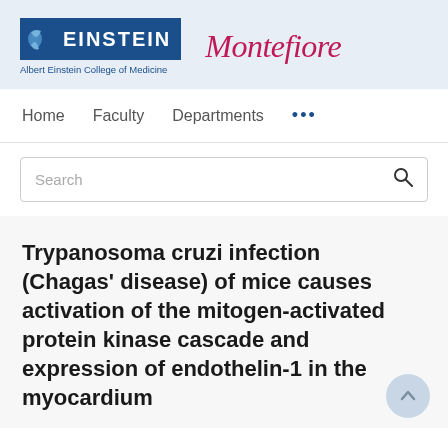[Figure (logo): Einstein (Albert Einstein College of Medicine) and Montefiore institutional logos in a light blue header bar]
Home   Faculty   Departments   ...
[Figure (other): Search box with magnifying glass icon]
Trypanosoma cruzi infection (Chagas' disease) of mice causes activation of the mitogen-activated protein kinase cascade and expression of endothelin-1 in the myocardium